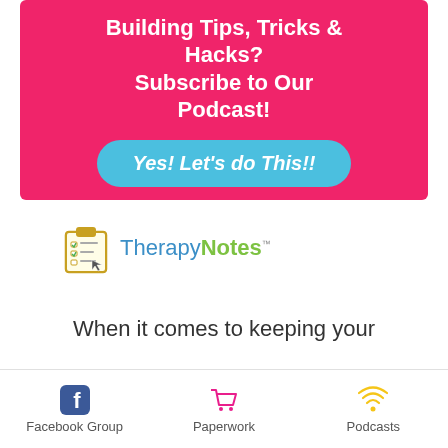[Figure (infographic): Pink banner with white bold text 'Building Tips, Tricks & Hacks? Subscribe to Our Podcast!' and a teal/cyan rounded button saying 'Yes! Let's do This!!']
[Figure (logo): TherapyNotes logo with checklist clipboard icon, 'Therapy' and 'Notes' in blue and green respectively with TM mark]
When it comes to keeping your
[Figure (infographic): Bottom navigation bar with three items: Facebook Group (blue Facebook icon), Paperwork (pink shopping cart icon), Podcasts (yellow wifi/signal icon)]